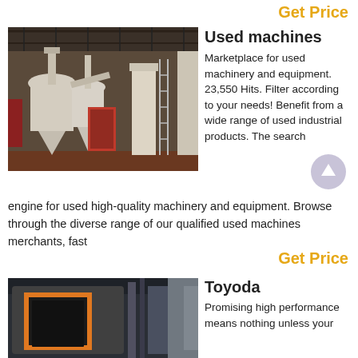Get Price
[Figure (photo): Industrial milling/grinding machinery with cyclone dust collectors and silos inside a large factory warehouse]
Used machines
Marketplace for used machinery and equipment. 23,550 Hits. Filter according to your needs! Benefit from a wide range of used industrial products. The search engine for used high-quality machinery and equipment. Browse through the diverse range of our qualified used machines merchants, fast
Get Price
[Figure (photo): Industrial furnace or oven with orange-framed door inside a factory setting]
Toyoda
Promising high performance means nothing unless your